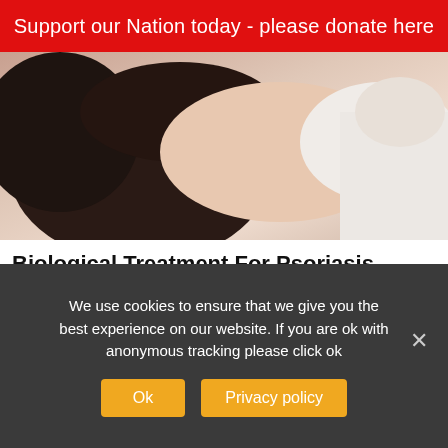Support our Nation today - please donate here
[Figure (photo): Medical professional examining skin condition on patient's scalp/neck area]
Biological Treatment For Psoriasis (Some May Want To Check It Out)
Psoriasis | Search Ads | Sponsored
[Figure (photo): Elderly person sleeping or resting on a couch/sofa]
We use cookies to ensure that we give you the best experience on our website. If you are ok with anonymous tracking please click ok
Ok
Privacy policy